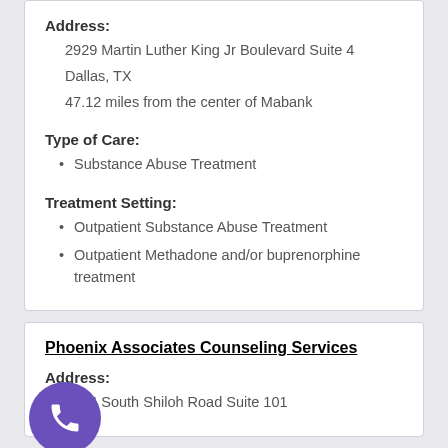Address:
2929 Martin Luther King Jr Boulevard Suite 4
Dallas, TX
47.12 miles from the center of Mabank
Type of Care:
Substance Abuse Treatment
Treatment Setting:
Outpatient Substance Abuse Treatment
Outpatient Methadone and/or buprenorphine treatment
Phoenix Associates Counseling Services
Address:
3884 South Shiloh Road Suite 101